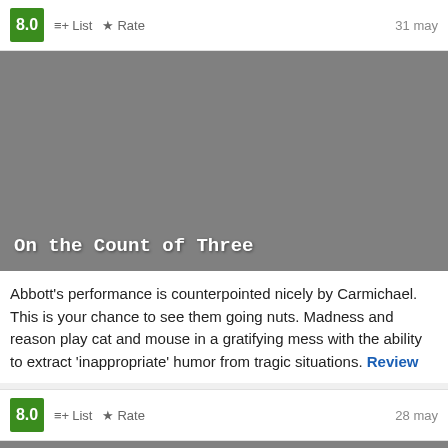8.0  List  Rate  31 may
[Figure (photo): Gray placeholder image for movie 'On the Count of Three' with title overlay text]
On the Count of Three
Abbott's performance is counterpointed nicely by Carmichael. This is your chance to see them going nuts. Madness and reason play cat and mouse in a gratifying mess with the ability to extract 'inappropriate' humor from tragic situations. Review
8.0  List  Rate  28 may
[Figure (photo): Gray placeholder image for a second movie listing]